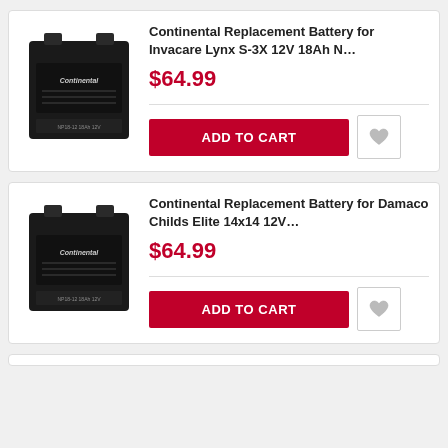[Figure (photo): Black Continental replacement battery product image]
Continental Replacement Battery for Invacare Lynx S-3X 12V 18Ah N…
$64.99
ADD TO CART
[Figure (photo): Black Continental replacement battery product image]
Continental Replacement Battery for Damaco Childs Elite 14x14 12V…
$64.99
ADD TO CART